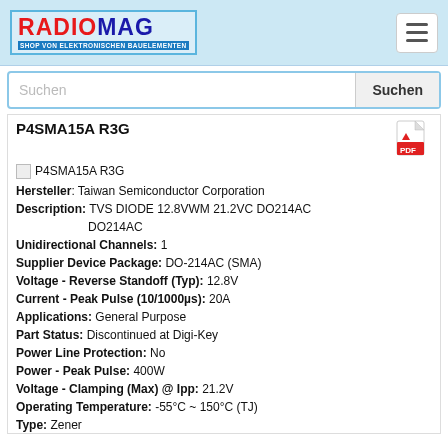[Figure (logo): RadioMag logo - shop von elektronischen Bauelementen]
Suchen
P4SMA15A R3G
P4SMA15A R3G
Hersteller: Taiwan Semiconductor Corporation
Description: TVS DIODE 12.8VWM 21.2VC DO214AC
Unidirectional Channels: 1
Supplier Device Package: DO-214AC (SMA)
Voltage - Reverse Standoff (Typ): 12.8V
Current - Peak Pulse (10/1000µs): 20A
Applications: General Purpose
Part Status: Discontinued at Digi-Key
Power Line Protection: No
Power - Peak Pulse: 400W
Voltage - Clamping (Max) @ Ipp: 21.2V
Operating Temperature: -55°C ~ 150°C (TJ)
Type: Zener
Mounting Type: Surface Mount
Package / Case: DO-214AC, SMA
Packaging: Tape & Reel (TR)
Voltage - Breakdown (Min): 14.25V
Produkt ist nicht verfügbar, Sie können Anfrage senden wenn Sie Produkt in den Warenkorb hinzufügen